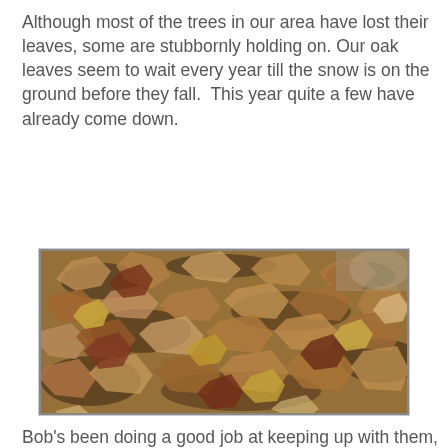Although most of the trees in our area have lost their leaves, some are stubbornly holding on. Our oak leaves seem to wait every year till the snow is on the ground before they fall.  This year quite a few have already come down.
[Figure (photo): Photograph of a large pile of dried brown oak leaves covering the ground, with various shades of brown, tan, and some yellow/reddish leaves visible.]
Bob's been doing a good job at keeping up with them, but we